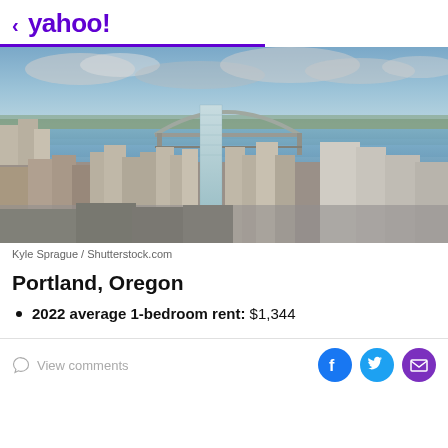< yahoo!
[Figure (photo): Aerial view of Portland, Oregon cityscape showing downtown buildings, the Fremont Bridge arch over the Willamette River, with river and distant hills in the background under a partly cloudy sky]
Kyle Sprague / Shutterstock.com
Portland, Oregon
2022 average 1-bedroom rent: $1,344
View comments